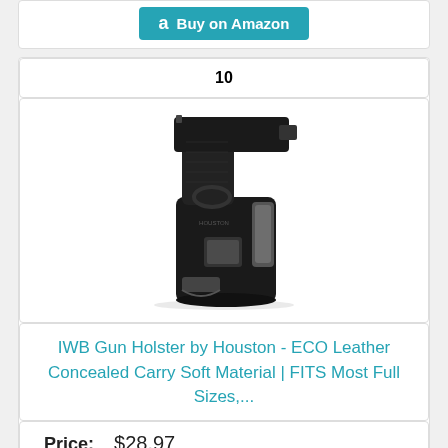[Figure (other): Buy on Amazon button with teal background and Amazon logo]
10
[Figure (photo): IWB gun holster product photo showing a black leather holster with a handgun inserted, on white background]
IWB Gun Holster by Houston - ECO Leather Concealed Carry Soft Material | FITS Most Full Sizes,...
Price: $28.97